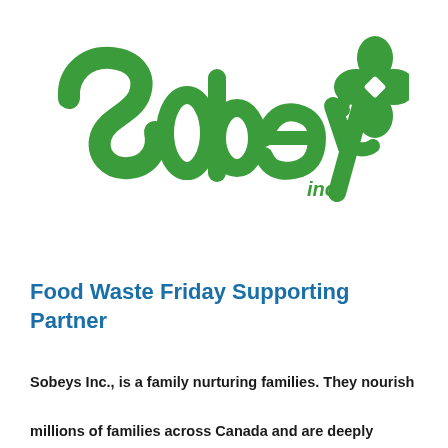[Figure (logo): Sobeys Inc. green logo with stylized 'Sobeys inc.' text and a green four-leaf clover/flower symbol on the right]
Food Waste Friday Supporting Partner
Sobeys Inc., is a family nurturing families. They nourish millions of families across Canada and are deeply committed to their communities. Sobeys Inc. takes